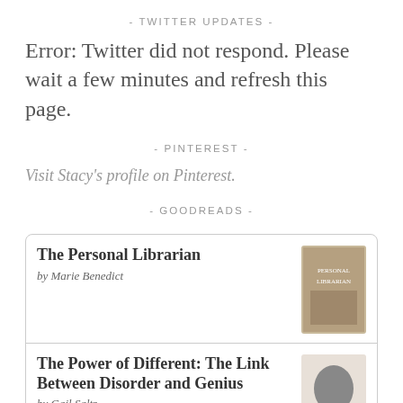- TWITTER UPDATES -
Error: Twitter did not respond. Please wait a few minutes and refresh this page.
- PINTEREST -
Visit Stacy's profile on Pinterest.
- GOODREADS -
The Personal Librarian
by Marie Benedict
The Power of Different: The Link Between Disorder and Genius
by Gail Saltz